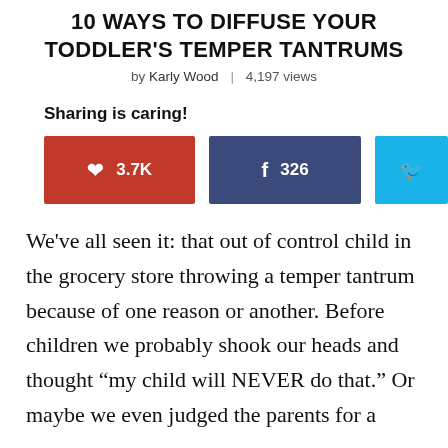10 WAYS TO DIFFUSE YOUR TODDLER'S TEMPER TANTRUMS
by Karly Wood | 4,197 views
Sharing is caring!
[Figure (infographic): Social sharing buttons: Pinterest (3.7K), Facebook (326), Twitter]
We've all seen it: that out of control child in the grocery store throwing a temper tantrum because of one reason or another. Before children we probably shook our heads and thought “my child will NEVER do that.” Or maybe we even judged the parents for a